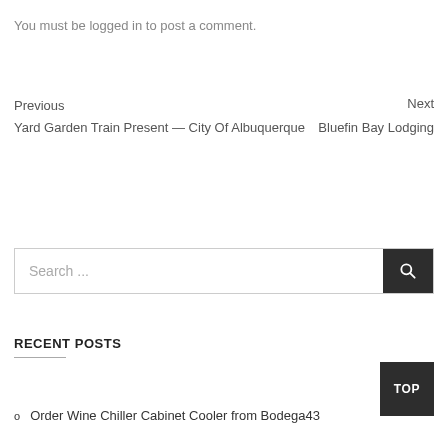You must be logged in to post a comment.
Previous
Yard Garden Train Present — City Of Albuquerque
Next
Bluefin Bay Lodging
Search ...
RECENT POSTS
Order Wine Chiller Cabinet Cooler from Bodega43